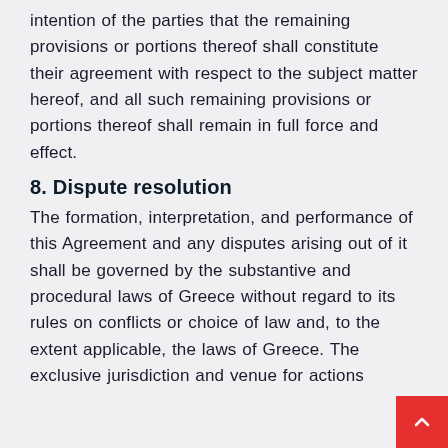intention of the parties that the remaining provisions or portions thereof shall constitute their agreement with respect to the subject matter hereof, and all such remaining provisions or portions thereof shall remain in full force and effect.
8. Dispute resolution
The formation, interpretation, and performance of this Agreement and any disputes arising out of it shall be governed by the substantive and procedural laws of Greece without regard to its rules on conflicts or choice of law and, to the extent applicable, the laws of Greece. The exclusive jurisdiction and venue for actions